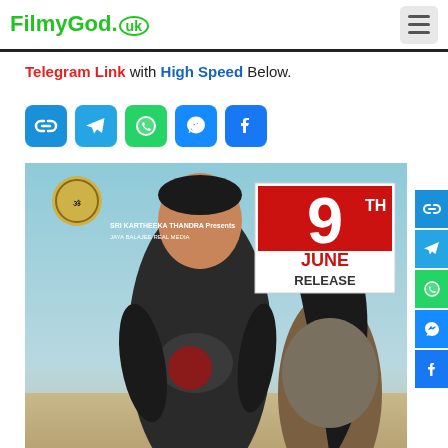FilmyGod.uk
Telegram Link with High Speed Below.
[Figure (other): Social sharing icons row: link, Telegram, WhatsApp, Messenger, Facebook]
[Figure (photo): Movie poster showing two actors with text '9th June Release', 'FREEDOM', 'SRI KARTHEEKA THANDRA Presents', 'JAYA BALAJEE REAL MEDIA']
[Figure (other): Right sidebar social sharing icons: link, Telegram, WhatsApp, Messenger, Facebook]